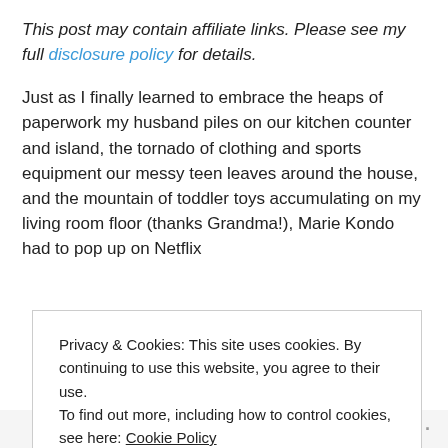This post may contain affiliate links. Please see my full disclosure policy for details.
Just as I finally learned to embrace the heaps of paperwork my husband piles on our kitchen counter and island, the tornado of clothing and sports equipment our messy teen leaves around the house, and the mountain of toddler toys accumulating on my living room floor (thanks Grandma!), Marie Kondo had to pop up on Netflix
Privacy & Cookies: This site uses cookies. By continuing to use this website, you agree to their use.
To find out more, including how to control cookies, see here: Cookie Policy
CLOSE AND ACCEPT
Follow